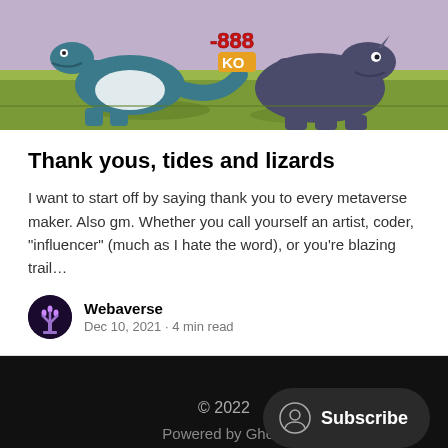[Figure (illustration): Cartoon illustration of two dinosaurs/lizards fighting on a green grassy background, with a '-888 KO' text overlay in red/yellow, one dinosaur wearing what appears to be a white garment]
Thank yous, tides and lizards
I want to start off by saying thank you to every metaverse maker. Also gm. Whether you call yourself an artist, coder, "influencer" (much as I hate the word), or you're blazing trail…
Webaverse
Dec 10, 2021 • 4 min read
© 2022
Powered by Ghost